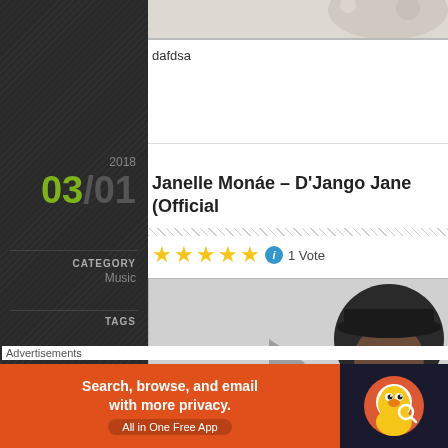[Figure (photo): Top partial image strip - decorative/fashion photo cropped at top]
dafdsa
2018
03/01
CATEGORY
Music
TAGS
Janelle Monáe – D'Jango Jane (Official
★★★★★ ℹ 1 Vote
[Figure (screenshot): Video preview thumbnail showing a person with a black hat, with a close/X button overlay]
Advertisements
[Figure (infographic): DuckDuckGo advertisement banner: 'Search, browse, and email with more privacy. All in One Free App' with DuckDuckGo logo on dark background]